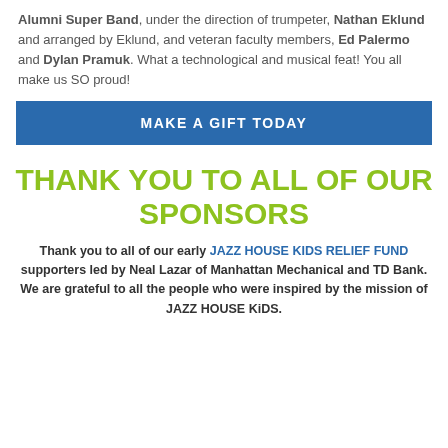Alumni Super Band, under the direction of trumpeter, Nathan Eklund and arranged by Eklund, and veteran faculty members, Ed Palermo and Dylan Pramuk. What a technological and musical feat! You all make us SO proud!
MAKE A GIFT TODAY
THANK YOU TO ALL OF OUR SPONSORS
Thank you to all of our early JAZZ HOUSE KIDS RELIEF FUND supporters led by Neal Lazar of Manhattan Mechanical and TD Bank. We are grateful to all the people who were inspired by the mission of JAZZ HOUSE KiDS.